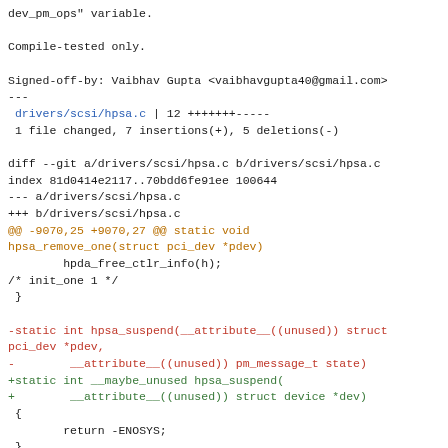dev_pm_ops" variable.

Compile-tested only.

Signed-off-by: Vaibhav Gupta <vaibhavgupta40@gmail.com>
---
 drivers/scsi/hpsa.c | 12 +++++++-----
 1 file changed, 7 insertions(+), 5 deletions(-)

diff --git a/drivers/scsi/hpsa.c b/drivers/scsi/hpsa.c
index 81d0414e2117..70bdd6fe91ee 100644
--- a/drivers/scsi/hpsa.c
+++ b/drivers/scsi/hpsa.c
@@ -9070,25 +9070,27 @@ static void
hpsa_remove_one(struct pci_dev *pdev)
        hpda_free_ctlr_info(h);
/* init_one 1 */
 }

-static int hpsa_suspend(__attribute__((unused)) struct pci_dev *pdev,
-        __attribute__((unused)) pm_message_t state)
+static int __maybe_unused hpsa_suspend(
+        __attribute__((unused)) struct device *dev)
 {
        return -ENOSYS;
 }

-static int hpsa_resume(__attribute__((unused)) struct pci_dev *pdev)
pci_dev *pdev)